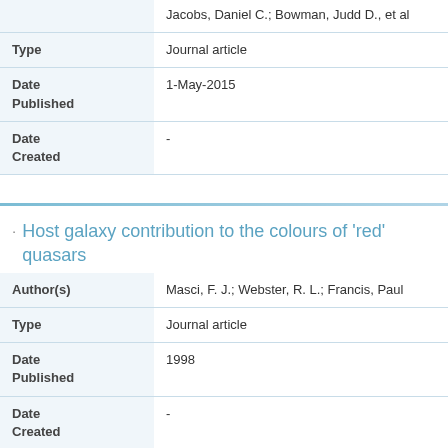| Field | Value |
| --- | --- |
|  | Jacobs, Daniel C.; Bowman, Judd D., et al |
| Type | Journal article |
| Date Published | 1-May-2015 |
| Date Created | - |
Host galaxy contribution to the colours of 'red' quasars
| Field | Value |
| --- | --- |
| Author(s) | Masci, F. J.; Webster, R. L.; Francis, Paul |
| Type | Journal article |
| Date Published | 1998 |
| Date Created | - |